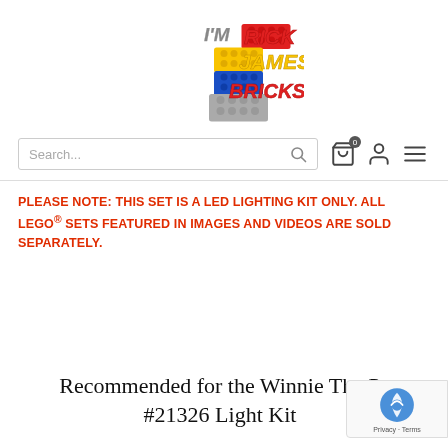[Figure (logo): I'm Rick James Bricks logo with colorful LEGO bricks stacked forming the text RICK JAMES BRICKS]
[Figure (screenshot): Search bar with magnifying glass icon, shopping cart icon with badge 0, user account icon, and hamburger menu icon]
PLEASE NOTE: THIS SET IS A LED LIGHTING KIT ONLY. ALL LEGO® SETS FEATURED IN IMAGES AND VIDEOS ARE SOLD SEPARATELY.
Recommended for the Winnie The Pooh #21326 Light Kit